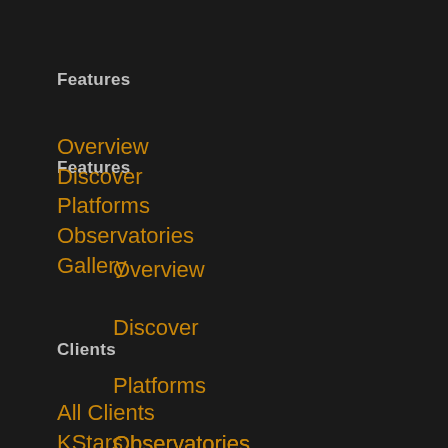Features
Overview
Discover
Platforms
Observatories
Gallery
Clients
All Clients
KStars
SkyCharts
PHD2